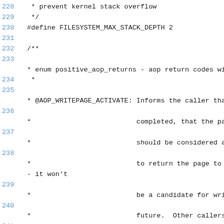Source code listing, lines 228-243, showing kernel filesystem stack depth define and AOP writepage documentation comments.